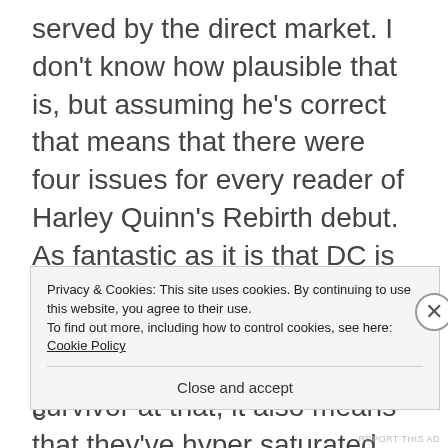served by the direct market. I don't know how plausible that is, but assuming he's correct that means that there were four issues for every reader of Harley Quinn's Rebirth debut. As fantastic as it is that DC is willing to put everything they have behind a comic starring a woman, and a bisexual abuse survivor at that, it also means that they've hyper saturated the market in an unsustainable bid for market s... c...
Privacy & Cookies: This site uses cookies. By continuing to use this website, you agree to their use. To find out more, including how to control cookies, see here: Cookie Policy
Close and accept
REPORT THIS AD